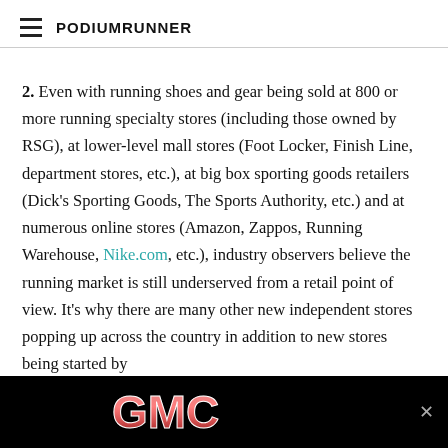PodiumRunner
2. Even with running shoes and gear being sold at 800 or more running specialty stores (including those owned by RSG), at lower-level mall stores (Foot Locker, Finish Line, department stores, etc.), at big box sporting goods retailers (Dick's Sporting Goods, The Sports Authority, etc.) and at numerous online stores (Amazon, Zappos, Running Warehouse, Nike.com, etc.), industry observers believe the running market is still underserved from a retail point of view. It's why there are many other new independent stores popping up across the country in addition to new stores being started by RSG.
[Figure (other): GMC advertisement banner with red GMC logo on black background]